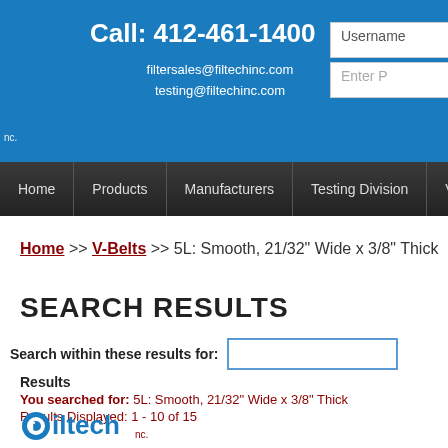Call: 412-461-1400
filtersales@filtechinc.com
testing@filtechinc.com
Home | Products | Manufacturers | Testing Division | Valu
Home >> V-Belts >> 5L: Smooth, 21/32" Wide x 3/8" Thick
SEARCH RESULTS
Search within these results for:
Results
You searched for: 5L: Smooth, 21/32" Wide x 3/8" Thick
Results Displayed: 1 - 10 of 15
[Figure (logo): Filtech Inc. company logo with circular icon and blue text]